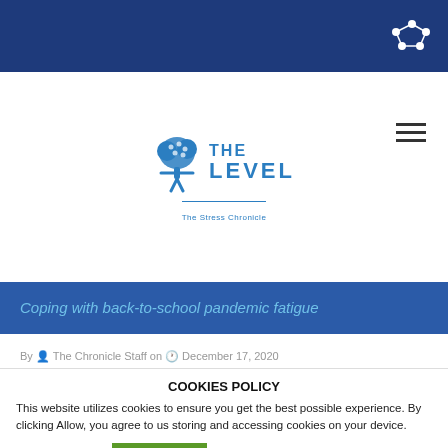[Figure (logo): The Level - The Stress Chronicle logo with tree/person icon in blue]
Coping with back-to-school pandemic fatigue
By The Chronicle Staff on December 17, 2020
COOKIES POLICY
This website utilizes cookies to ensure you get the best possible experience. By clicking Allow, you agree to us storing and accessing cookies on your device.
Cookie settings  ACCEPT